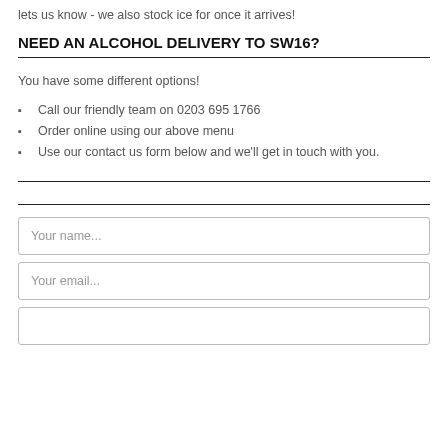lets us know - we also stock ice for once it arrives!
NEED AN ALCOHOL DELIVERY TO SW16?
You have some different options!
Call our friendly team on 0203 695 1766
Order online using our above menu
Use our contact us form below and we'll get in touch with you.
[Figure (other): Contact form with fields: Your name..., Your email..., message area, and a green CLICK TO CALL US NOW button]